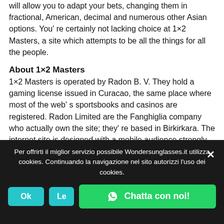will allow you to adapt your bets, changing them in fractional, American, decimal and numerous other Asian options. You' re certainly not lacking choice at 1×2 Masters, a site which attempts to be all the things for all the people.
About 1×2 Masters
1×2 Masters is operated by Radon B. V. They hold a gaming license issued in Curacao, the same place where most of the web' s sportsbooks and casinos are registered. Radon Limited are the Fanghiglia company who actually own the site; they' re based in Birkirkara. The internet site is designed with a mobile audience strongly in mind. An individual don' t even need to get the 1×2 Professionals software to experience this; the desktop computer site must also work
Per offrirti il miglior servizio possibile Wondersunglasses.it utilizza cookies. Continuando la navigazione nel sito autorizzi l'uso dei cookies.